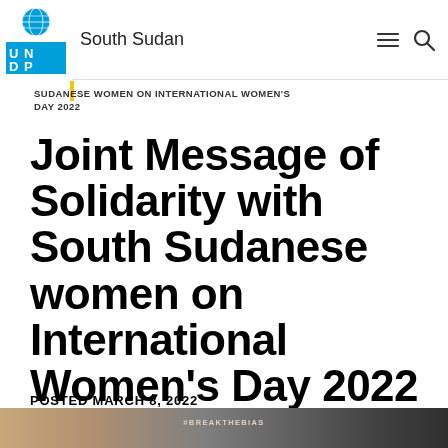UNDP South Sudan
SUDANESE WOMEN ON INTERNATIONAL WOMEN'S DAY 2022
Joint Message of Solidarity with South Sudanese women on International Women's Day 2022
POSTED MARCH 8, 2022
[Figure (photo): Partial image strip at bottom showing women, decorative elements, and #BreakTheBias text]